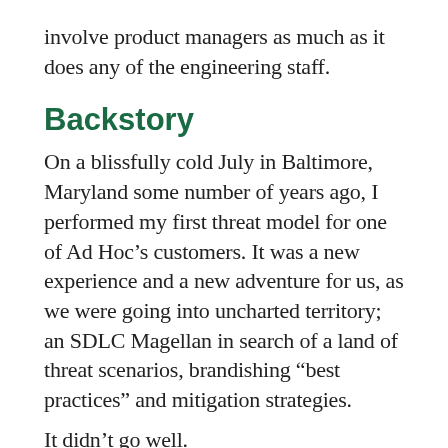involve product managers as much as it does any of the engineering staff.
Backstory
On a blissfully cold July in Baltimore, Maryland some number of years ago, I performed my first threat model for one of Ad Hoc’s customers. It was a new experience and a new adventure for us, as we were going into uncharted territory; an SDLC Magellan in search of a land of threat scenarios, brandishing “best practices” and mitigation strategies.
It didn’t go well.